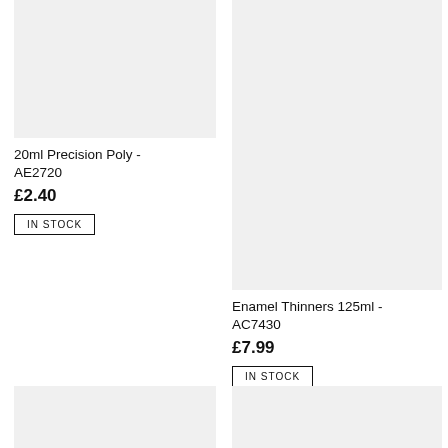[Figure (photo): Product image placeholder for 20ml Precision Poly AE2720 - light gray rectangle]
20ml Precision Poly - AE2720
£2.40
IN STOCK
[Figure (photo): Product image placeholder for Enamel Thinners 125ml AC7430 - tall light gray rectangle]
Enamel Thinners 125ml - AC7430
£7.99
IN STOCK
[Figure (photo): Bottom left product image placeholder - light gray rectangle]
[Figure (photo): Bottom right product image placeholder - light gray rectangle]